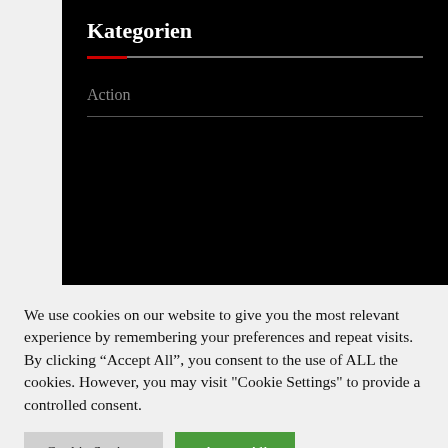[Figure (screenshot): Black panel showing a navigation/category section with 'Kategorien' heading in white bold text, a red/white horizontal divider line, and 'Action' text in grey below with a grey separator line, all on a black background.]
We use cookies on our website to give you the most relevant experience by remembering your preferences and repeat visits. By clicking “Accept All”, you consent to the use of ALL the cookies. However, you may visit "Cookie Settings" to provide a controlled consent.
Cookie Settings
Accept All